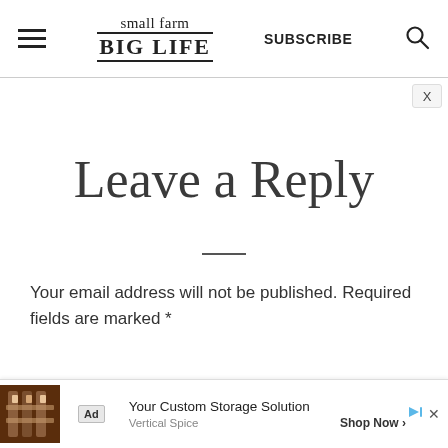small farm BIG LIFE — SUBSCRIBE
Leave a Reply
Your email address will not be published. Required fields are marked *
Comment *
[Figure (screenshot): Advertisement banner at the bottom: Ad badge, image of spice rack storage, text 'Your Custom Storage Solution', brand 'Vertical Spice', call to action 'Shop Now >']